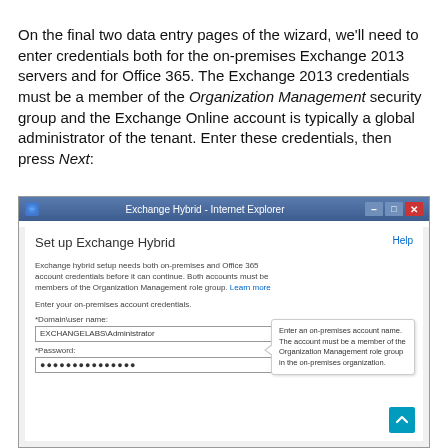On the final two data entry pages of the wizard, we'll need to enter credentials both for the on-premises Exchange 2013 servers and for Office 365. The Exchange 2013 credentials must be a member of the Organization Management security group and the Exchange Online account is typically a global administrator of the tenant. Enter these credentials, then press Next:
[Figure (screenshot): Screenshot of Exchange Hybrid - Internet Explorer browser window showing 'Set up Exchange Hybrid' page with fields for on-premises account credentials (Domain\user name: EXCHANGELABS\Administrator, and Password with masked dots), along with a tooltip explaining the account must be a member of the Organization Management role group.]